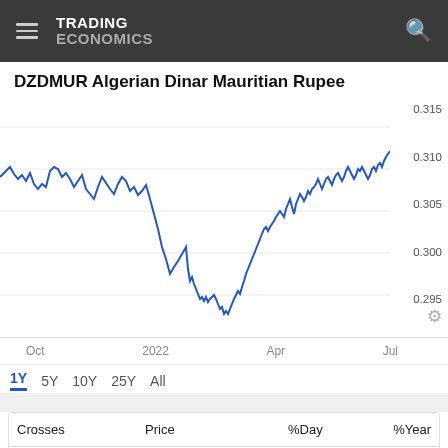TRADING ECONOMICS
DZDMUR Algerian Dinar Mauritian Rupee
[Figure (continuous-plot): Line chart of DZDMUR (Algerian Dinar to Mauritian Rupee) exchange rate over 1 year from Oct 2021 to Jul 2022. Rate declines from ~0.313 in Oct 2021, drops sharply around Apr 2022 to ~0.293, then recovers toward 0.313 by Jul 2022.]
Oct  2022  Apr  Jul
1Y  5Y  10Y  25Y  All
| Crosses | Price | %Day | %Year |
| --- | --- | --- | --- |